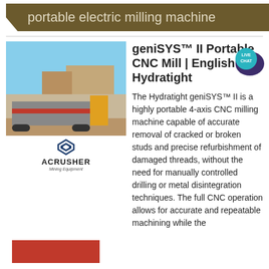portable electric milling machine
[Figure (photo): Outdoor photograph of a portable CNC milling machine on a trailer at an industrial site, with an ACRUSHER Mining Equipment logo overlay in the lower portion.]
geniSYS™ II Portable CNC Mill | English | Hydratight
The Hydratight geniSYS™ II is a highly portable 4-axis CNC milling machine capable of accurate removal of cracked or broken studs and precise refurbishment of damaged threads, without the need for manually controlled drilling or metal disintegration techniques. The full CNC operation allows for accurate and repeatable machining while the